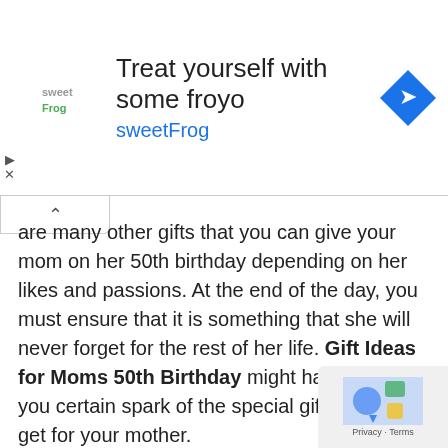[Figure (screenshot): SweetFrog advertisement banner with logo, headline 'Treat yourself with some froyo', brand name 'sweetFrog', navigation icon, and playback/close controls]
are many other gifts that you can give your mom on her 50th birthday depending on her likes and passions. At the end of the day, you must ensure that it is something that she will never forget for the rest of her life. Gift Ideas for Moms 50th Birthday might have given you certain spark of the special gift you can get for your mother.